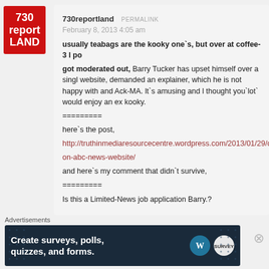[Figure (logo): 730 reportLAND logo — red square with white bold text]
730reportland PERMALINK
February 8, 2013 4:05 am
usually teabags are the kooky one`s, but over at coffee-3 l po got moderated out, Barry Tucker has upset himself over a single website, demanded an explainer, which he is not happy with and Ack-MA. lt`s amusing and l thought you`lot` would enjoy an ex kooky.
=========
here`s the post,
http://truthinmediaresourcecentre.wordpress.com/2013/01/29/ou on-abc-news-website/
and here`s my comment that didn`t survive,
=========
Is this a Limited-News job application Barry.?
Advertisements
[Figure (screenshot): Advertisement banner: dark navy background with white dots pattern. Text: Create surveys, polls, quizzes, and forms. WordPress and SurveyMonkey logos on right.]